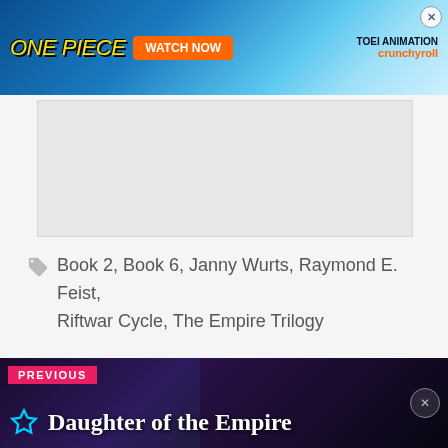[Figure (other): One Piece anime advertisement banner with 'WATCH NOW' button, Toei Animation and Crunchyroll logos on blue background]
[Figure (other): Gray advertisement placeholder box]
Book 2, Book 6, Janny Wurts, Raymond E. Feist, Riftwar Cycle, The Empire Trilogy
[Figure (other): Navigation block: PREVIOUS - Daughter of the Empire, dark fantasy book cover background]
[Figure (other): reCAPTCHA badge in lower right corner]